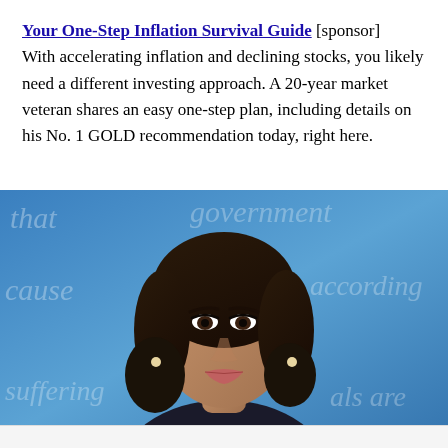Your One-Step Inflation Survival Guide [sponsor] With accelerating inflation and declining stocks, you likely need a different investing approach. A 20-year market veteran shares an easy one-step plan, including details on his No. 1 GOLD recommendation today, right here.
[Figure (photo): Portrait photo of a woman with dark shoulder-length hair, wearing dark clothing, against a blue background with white italic text watermarks reading 'that', 'government', 'cause', 'according', 'suffering', 'als are']